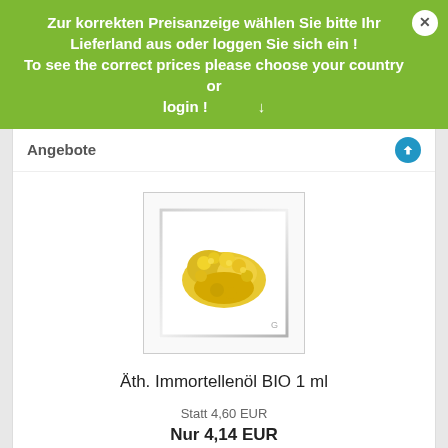Zur korrekten Preisanzeige wählen Sie bitte Ihr Lieferland aus oder loggen Sie sich ein ! To see the correct prices please choose your country or login !
Angebote
[Figure (photo): Yellow dried flowers/herb (Immortelle) on white background with thin silver border frame]
Äth. Immortellenöl BIO 1 ml
Statt 4,60 EUR
Nur 4,14 EUR
414,00 EUR pro 100 ml
Kundenlogin